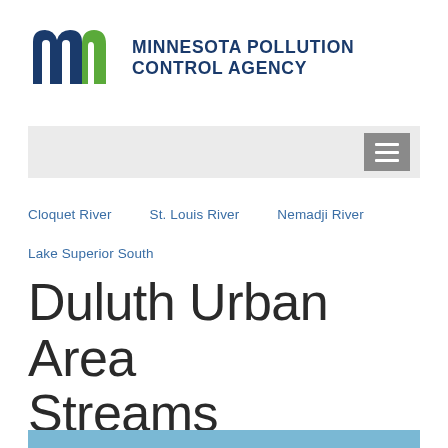[Figure (logo): Minnesota Pollution Control Agency logo with stylized 'm' in dark blue and green, and agency name in bold dark blue uppercase text]
[Figure (other): Gray navigation bar with hamburger menu button on right side]
Cloquet River
St. Louis River
Nemadji River
Lake Superior South
Duluth Urban Area Streams Watershed